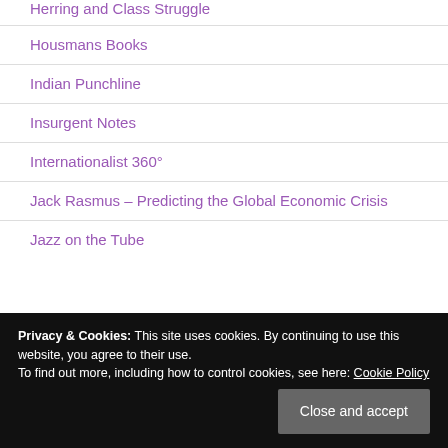Herring and Class Struggle
Housmans Books
Indian Punchline
Insurgent Notes
Internationalist 360°
Jack Rasmus – Predicting the Global Economic Crisis
Jazz on the Tube
Privacy & Cookies: This site uses cookies. By continuing to use this website, you agree to their use.
To find out more, including how to control cookies, see here: Cookie Policy
Close and accept